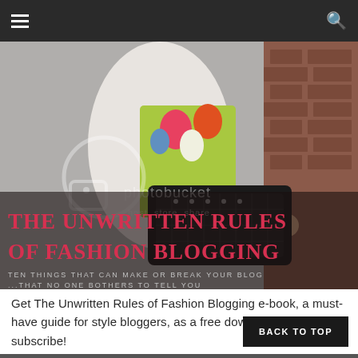Navigation bar with hamburger menu and search icon
[Figure (photo): Fashion photo of a woman holding a black quilted handbag with floral top, brick wall background. Photobucket watermark visible. Overlaid title text: THE UNWRITTEN RULES OF FASHION BLOGGING / TEN THINGS THAT CAN MAKE OR BREAK YOUR BLOG...THAT NO ONE BOTHERS TO TELL YOU]
Get The Unwritten Rules of Fashion Blogging e-book, a must-have guide for style bloggers, as a free download when you subscribe!
BACK TO TOP